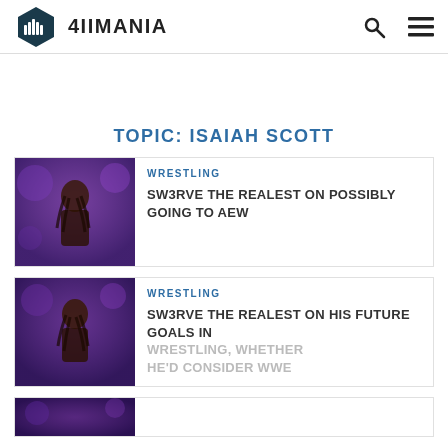4IIMANIA
TOPIC: ISAIAH SCOTT
WRESTLING
SW3RVE THE REALEST ON POSSIBLY GOING TO AEW
WRESTLING
SW3RVE THE REALEST ON HIS FUTURE GOALS IN WRESTLING, WHETHER HE'D CONSIDER WWE